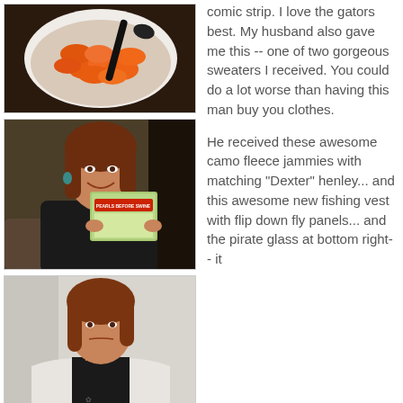[Figure (photo): A white bowl filled with glazed/cooked orange carrots, with a dark serving spoon, on a dark background]
[Figure (photo): A smiling woman with reddish-brown hair holding up a book titled 'Pearls Before Swine', wearing a black shirt with teal earrings, sitting on a couch]
[Figure (photo): A woman with reddish-brown hair wearing a black shirt and white blazer, looking at the camera with a neutral expression]
comic strip. I love the gators best. My husband also gave me this -- one of two gorgeous sweaters I received. You could do a lot worse than having this man buy you clothes.
He received these awesome camo fleece jammies with matching "Dexter" henley... and this awesome new fishing vest with flip down fly panels... and the pirate glass at bottom right-- it